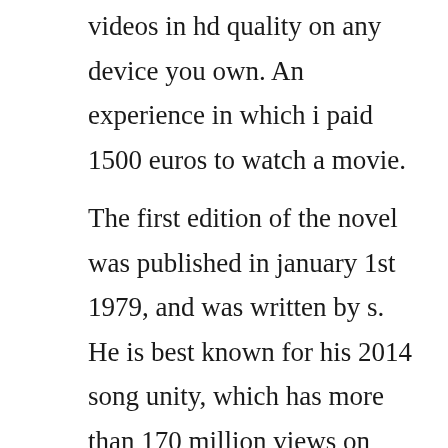videos in hd quality on any device you own. An experience in which i paid 1500 euros to watch a movie.
The first edition of the novel was published in january 1st 1979, and was written by s. He is best known for his 2014 song unity, which has more than 170 million views on youtube, and his 2016 extended play jackpot which reached 23 on the billboard danceelectronic albums chart. Big tits xxx huge boobs videos porn big tite video duration. And give us our daily sex, 1979 veronica and her friend laura gemser are two very sexy bisexual nurses who live